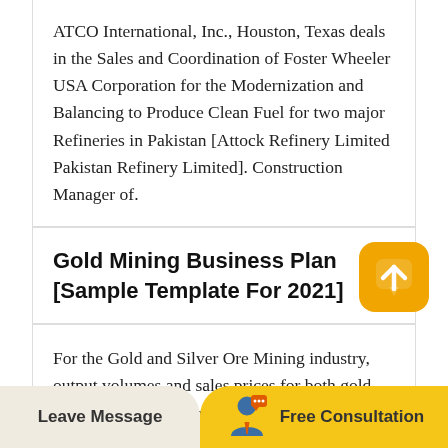ATCO International, Inc., Houston, Texas deals in the Sales and Coordination of Foster Wheeler USA Corporation for the Modernization and Balancing to Produce Clean Fuel for two major Refineries in Pakistan [Attock Refinery Limited Pakistan Refinery Limited]. Construction Manager of.
Gold Mining Business Plan [Sample Template For 2021]
[Figure (illustration): Orange rounded square button with white upward chevron/arrow icon]
For the Gold and Silver Ore Mining industry, output volumes and sales prices for both gold and silver have fallen over the past five years,
Leave Message   Free Consultation